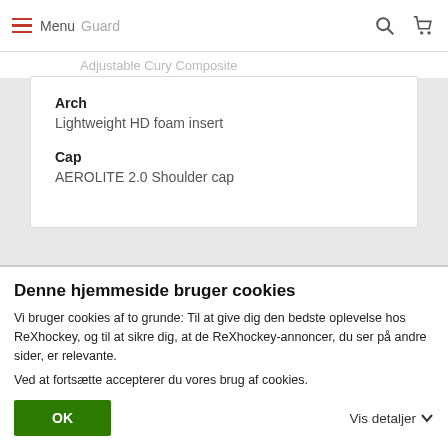Menu | Guard | Adjustable Cury Composite
Arch
Lightweight HD foam insert
Cap
AEROLITE 2.0 Shoulder cap
Denne hjemmeside bruger cookies
Vi bruger cookies af to grunde: Til at give dig den bedste oplevelse hos ReXhockey, og til at sikre dig, at de ReXhockey-annoncer, du ser på andre sider, er relevante.
Ved at fortsætte accepterer du vores brug af cookies.
OK
Vis detaljer